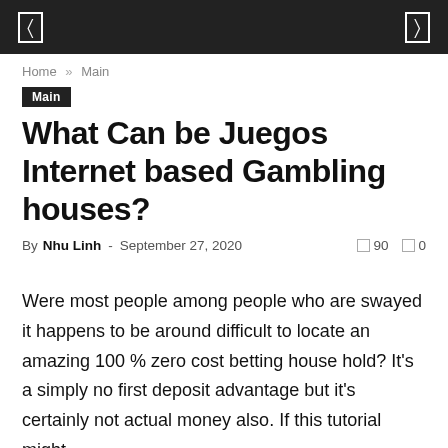[ ] [ ]
Home » Main
Main
What Can be Juegos Internet based Gambling houses?
By Nhu Linh - September 27, 2020   90   0
Were most people among people who are swayed it happens to be around difficult to locate an amazing 100 % zero cost betting house hold? It's a simply no first deposit advantage but it's certainly not actual money also. If this tutorial might